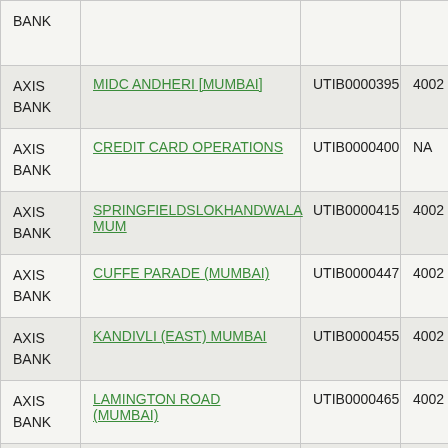| Bank | Branch | IFSC | PIN |
| --- | --- | --- | --- |
| AXIS BANK |  |  |  |
| AXIS BANK | MIDC ANDHERI [MUMBAI] | UTIB0000395 | 4002 |
| AXIS BANK | CREDIT CARD OPERATIONS | UTIB0000400 | NA |
| AXIS BANK | SPRINGFIELDSLOKHANDWALA MUM | UTIB0000415 | 4002 |
| AXIS BANK | CUFFE PARADE (MUMBAI) | UTIB0000447 | 4002 |
| AXIS BANK | KANDIVLI (EAST) MUMBAI | UTIB0000455 | 4002 |
| AXIS BANK | LAMINGTON ROAD (MUMBAI) | UTIB0000465 | 4002 |
| AXIS BANK | CENTRALISED ACCOUNT | UTIB0000469 | NA |